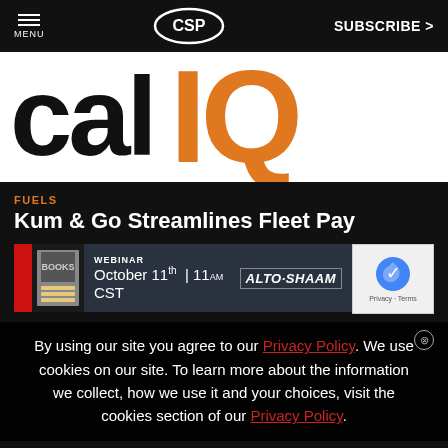MENU | CSP | SUBSCRIBE >
[Figure (logo): Partial hero image showing large black text 'cal' and large orange text 'IQ' on white background]
FUELS
Kum & Go Streamlines Fleet Pay
[Figure (screenshot): Webinar advertisement banner: October 11th | 11am CST - Alto-Shaam]
By using our site you agree to our Privacy Policy. We use cookies on our site. To learn more about the information we collect, how we use it and your choices, visit the cookies section of our Privacy Policy.